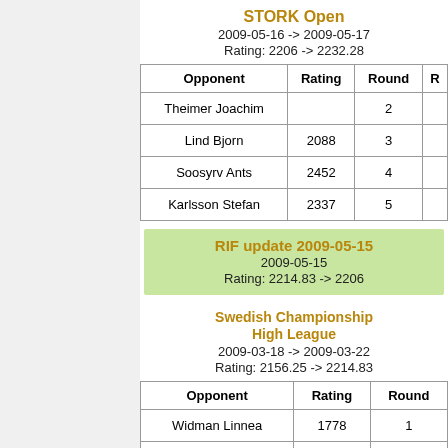STORK Open
2009-05-16 -> 2009-05-17
Rating: 2206 -> 2232.28
| Opponent | Rating | Round | R |
| --- | --- | --- | --- |
| Theimer Joachim |  | 2 |  |
| Lind Bjorn | 2088 | 3 |  |
| Soosyrv Ants | 2452 | 4 |  |
| Karlsson Stefan | 2337 | 5 |  |
RIF update 2009-05-15
2009-05-15
Rating: 2214.83 -> 2206
Swedish Championship High League
2009-03-18 -> 2009-03-22
Rating: 2156.25 -> 2214.83
| Opponent | Rating | Round |
| --- | --- | --- |
| Widman Linnea | 1778 | 1 |
| Nyberg Bengt | 1719 | 2 |